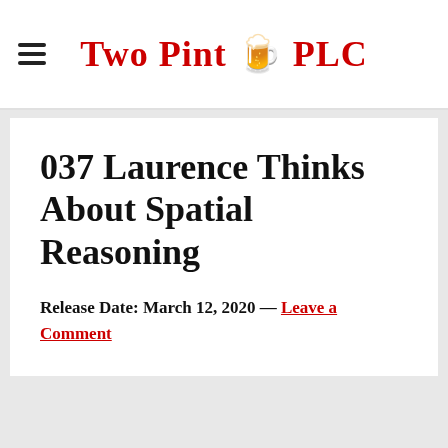Two Pint 🍺 PLC
037 Laurence Thinks About Spatial Reasoning
Release Date:  March 12, 2020 — Leave a Comment